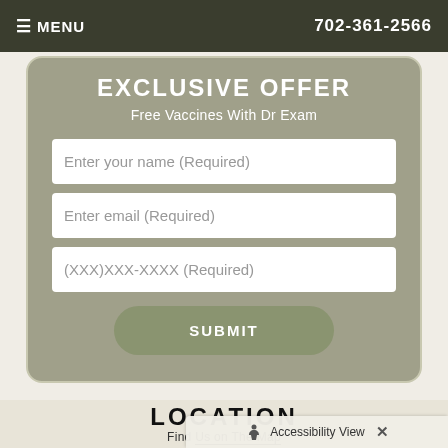≡ MENU   702-361-2566
EXCLUSIVE OFFER
Free Vaccines With Dr Exam
Enter your name (Required)
Enter email (Required)
(XXX)XXX-XXXX (Required)
SUBMIT
LOCATION
Find Us on The Map
Accessibility View